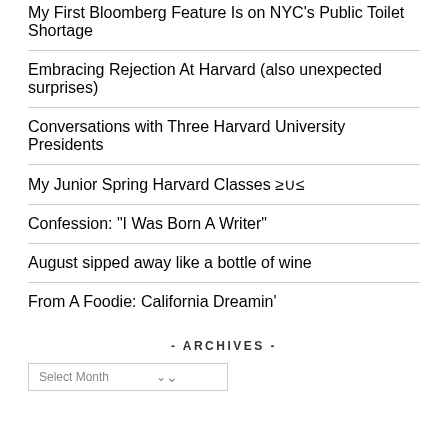My First Bloomberg Feature Is on NYC's Public Toilet Shortage
Embracing Rejection At Harvard (also unexpected surprises)
Conversations with Three Harvard University Presidents
My Junior Spring Harvard Classes ≥∪≤
Confession: "I Was Born A Writer"
August sipped away like a bottle of wine
From A Foodie: California Dreamin'
- ARCHIVES -
Select Month